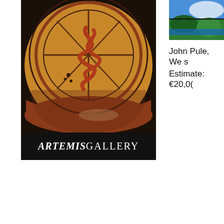[Figure (photo): Close-up photograph of an ancient decorated pottery bowl with orange/terracotta and red geometric and figural designs on a black background, branded with ARTEMIS GALLERY text bar at the bottom in white serif font on black background]
[Figure (photo): Partial view of a colorful painting showing blue sky, green landscape with vibrant colors, cropped at the right edge of the page]
John Pule, We s
Estimate: €20,0(